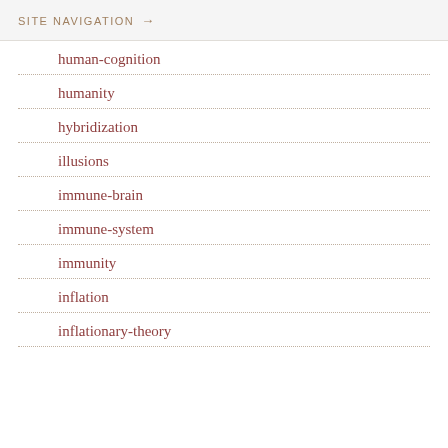SITE NAVIGATION →
human-cognition
humanity
hybridization
illusions
immune-brain
immune-system
immunity
inflation
inflationary-theory